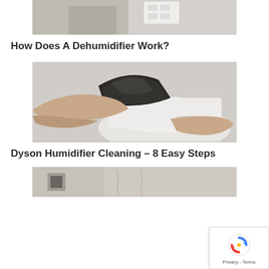[Figure (photo): Cropped top portion of a dehumidifier device, white appliance near a wall outlet]
How Does A Dehumidifier Work?
[Figure (photo): Hand cleaning or opening a Dyson humidifier, removing a dark filter component from a white circular device]
Dyson Humidifier Cleaning – 8 Easy Steps
[Figure (photo): Partially visible image at the bottom of the page, appears to show a surface with mold or staining]